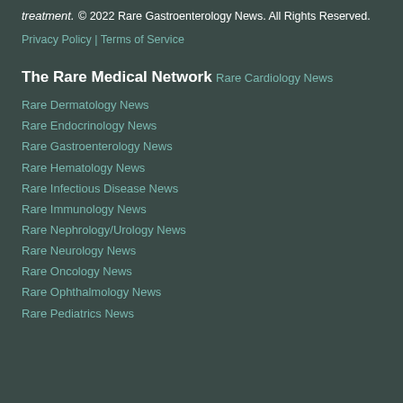treatment.
© 2022 Rare Gastroenterology News. All Rights Reserved.
Privacy Policy | Terms of Service
The Rare Medical Network
Rare Cardiology News
Rare Dermatology News
Rare Endocrinology News
Rare Gastroenterology News
Rare Hematology News
Rare Infectious Disease News
Rare Immunology News
Rare Nephrology/Urology News
Rare Neurology News
Rare Oncology News
Rare Ophthalmology News
Rare Pediatrics News